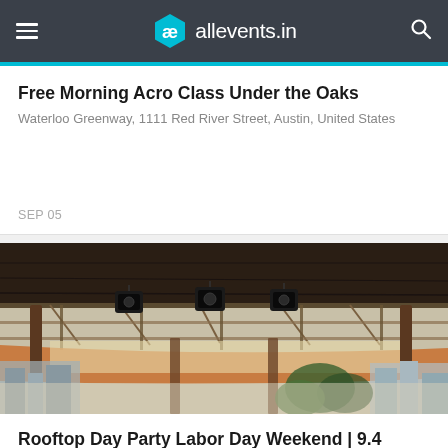allevents.in
Free Morning Acro Class Under the Oaks
Waterloo Greenway, 1111 Red River Street, Austin, United States
SEP 05
[Figure (photo): Rooftop venue photo showing an open-air structure with metal framework, hanging speakers/equipment overhead, orange fabric draped below, city skyline with buildings and trees visible in the background under a light sky.]
Rooftop Day Party Labor Day Weekend | 9.4
Speakeasy, 412 Congress Avenue, Austin, United States
SEP 04